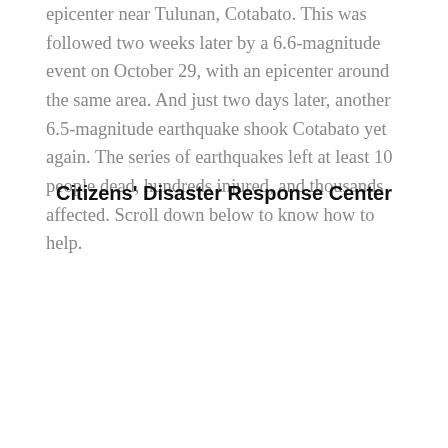epicenter near Tulunan, Cotabato. This was followed two weeks later by a 6.6-magnitude event on October 29, with an epicenter around the same area. And just two days later, another 6.5-magnitude earthquake shook Cotabato yet again. The series of earthquakes left at least 10 people dead, hundreds injured, and thousands affected. Scroll down below to know how to help.
Citizens' Disaster Response Center